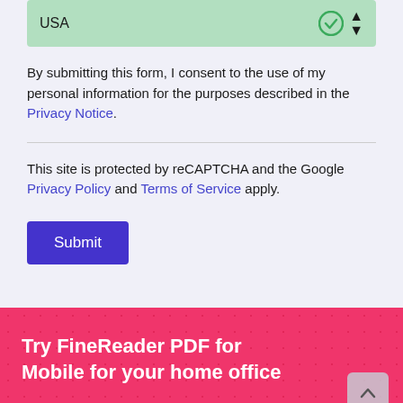USA
By submitting this form, I consent to the use of my personal information for the purposes described in the Privacy Notice.
This site is protected by reCAPTCHA and the Google Privacy Policy and Terms of Service apply.
Submit
Try FineReader PDF for Mobile for your home office